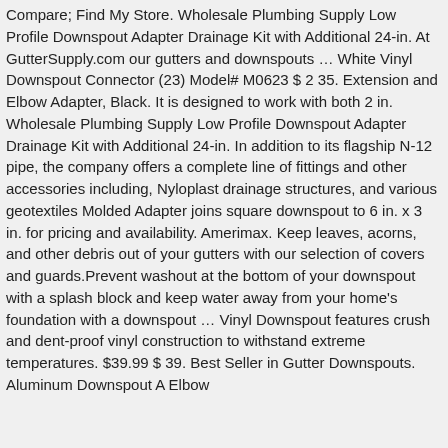Compare; Find My Store. Wholesale Plumbing Supply Low Profile Downspout Adapter Drainage Kit with Additional 24-in. At GutterSupply.com our gutters and downspouts … White Vinyl Downspout Connector (23) Model# M0623 $ 2 35. Extension and Elbow Adapter, Black. It is designed to work with both 2 in. Wholesale Plumbing Supply Low Profile Downspout Adapter Drainage Kit with Additional 24-in. In addition to its flagship N-12 pipe, the company offers a complete line of fittings and other accessories including, Nyloplast drainage structures, and various geotextiles Molded Adapter joins square downspout to 6 in. x 3 in. for pricing and availability. Amerimax. Keep leaves, acorns, and other debris out of your gutters with our selection of covers and guards.Prevent washout at the bottom of your downspout with a splash block and keep water away from your home's foundation with a downspout … Vinyl Downspout features crush and dent-proof vinyl construction to withstand extreme temperatures. $39.99 $ 39. Best Seller in Gutter Downspouts. Aluminum Downspout A Elbow